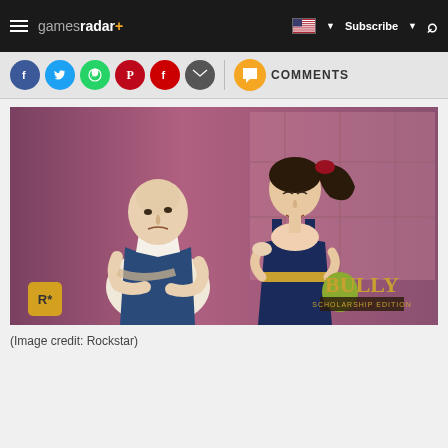GamesRadar+ | Subscribe
[Figure (other): Social sharing icons: Facebook, Twitter, WhatsApp, Pinterest, Flipboard, Email, and Comments button]
[Figure (illustration): Promotional artwork for the video game Bully by Rockstar Games. Two illustrated characters face each other: a bald male character in a white shirt and blue vest, and a female character with a dark ponytail wearing a navy dress with gold accents. A red Rockstar Games logo is in the lower left. BULLY text and Scholarship Edition branding appears in the lower right. Background shows comic-book style artwork on a pink-purple wall.]
(Image credit: Rockstar)